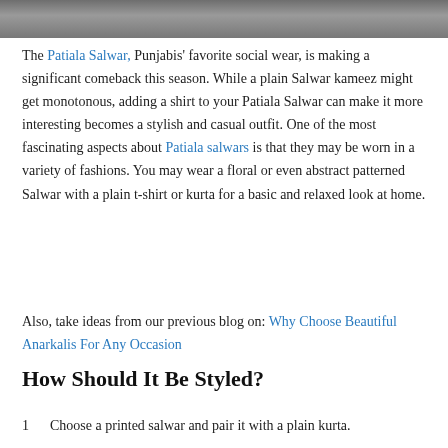[Figure (photo): Cropped bottom portion of a photo showing feet/legs in sandals, partial view of clothing]
The Patiala Salwar, Punjabis' favorite social wear, is making a significant comeback this season. While a plain Salwar kameez might get monotonous, adding a shirt to your Patiala Salwar can make it more interesting becomes a stylish and casual outfit. One of the most fascinating aspects about Patiala salwars is that they may be worn in a variety of fashions. You may wear a floral or even abstract patterned Salwar with a plain t-shirt or kurta for a basic and relaxed look at home.
Also, take ideas from our previous blog on: Why Choose Beautiful Anarkalis For Any Occasion
How Should It Be Styled?
Choose a printed salwar and pair it with a plain kurta.